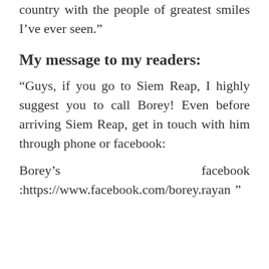country with the people of greatest smiles I’ve ever seen.”
My message to my readers:
“Guys, if you go to Siem Reap, I highly suggest you to call Borey! Even before arriving Siem Reap, get in touch with him through phone or facebook:
Borey’s facebook :https://www.facebook.com/borey.rayan ”